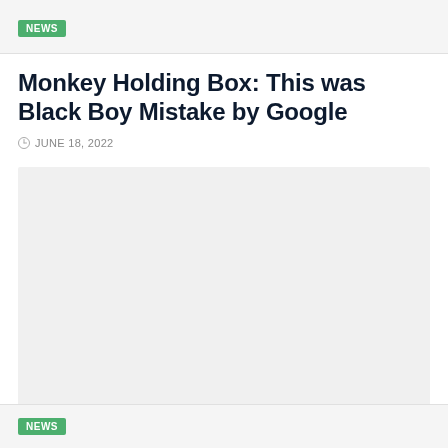NEWS
Monkey Holding Box: This was Black Boy Mistake by Google
JUNE 18, 2022
[Figure (photo): Large image placeholder area with light gray background]
NEWS